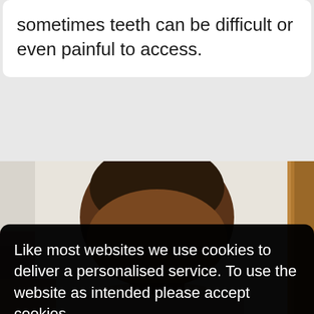sometimes teeth can be difficult or even painful to access.
[Figure (photo): Photo of a person's head from above/behind, showing short dark hair, with a light background and a wooden element visible on the right side.]
Like most websites we use cookies to deliver a personalised service. To use the website as intended please accept cookies.
Accept Cookies